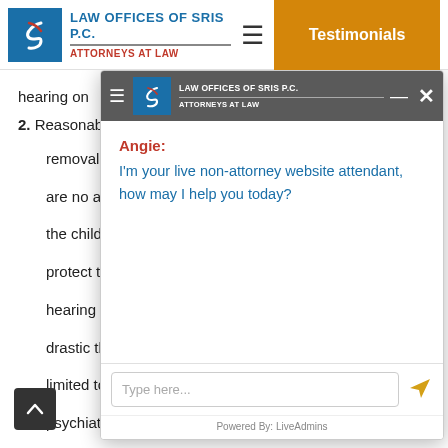[Figure (screenshot): Law Offices of SRIS P.C. website header with logo, navigation hamburger menu, and Testimonials button]
hearing on
2. Reasonable ... removal of ... are no alte... the child fr... protect the... hearing or... drastic tha... limited to t... psychiatric...
[Figure (screenshot): Live chat widget overlay from Law Offices of SRIS P.C. with Angie chatbot saying: I'm your live non-attorney website attendant, how may I help you today?]